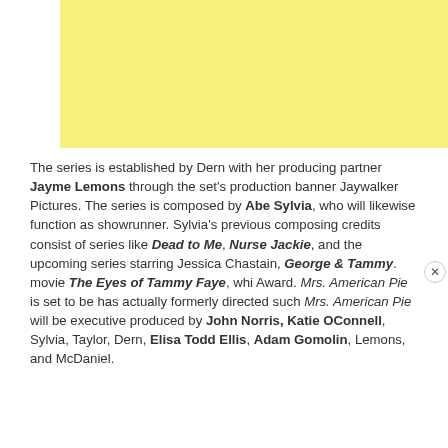[Figure (other): Yellow banner/advertisement placeholder at top of page]
The series is established by Dern with her producing partner Jayme Lemons through the set's production banner Jaywalker Pictures. The series is composed by Abe Sylvia, who will likewise function as showrunner. Sylvia's previous composing credits consist of series like Dead to Me, Nurse Jackie, and the upcoming series starring Jessica Chastain, George & Tammy. movie The Eyes of Tammy Faye, whi Award. Mrs. American Pie is set to be has actually formerly directed such Mrs. American Pie will be executive produced by John Norris, Katie OConnell, Sylvia, Taylor, Dern, Elisa Todd Ellis, Adam Gomolin, Lemons, and McDaniel.
[Figure (screenshot): Interview video overlay with pink neon INTERVIEW text, play button, person with blonde hair, and LN logo circle]